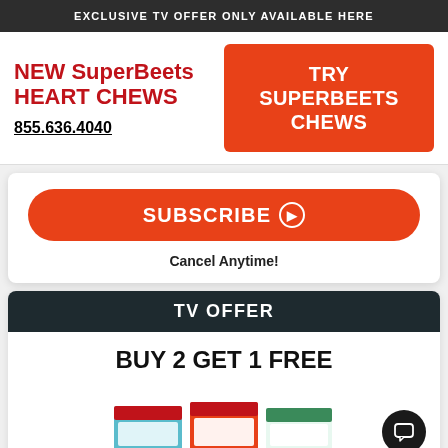EXCLUSIVE TV OFFER ONLY AVAILABLE HERE
NEW SuperBeets HEART CHEWS
855.636.4040
TRY SUPERBEETS CHEWS
SUBSCRIBE ⊙
Cancel Anytime!
TV OFFER
BUY 2 GET 1 FREE
[Figure (photo): Product packages of SuperBeets Heart Chews shown at bottom of page]